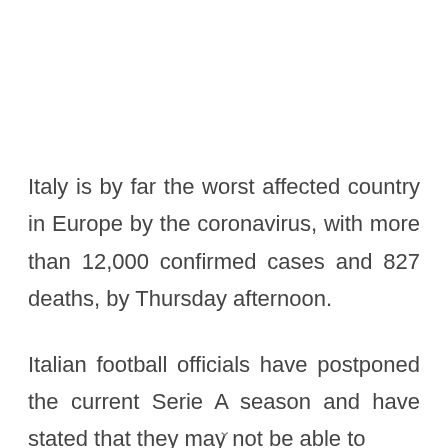Italy is by far the worst affected country in Europe by the coronavirus, with more than 12,000 confirmed cases and 827 deaths, by Thursday afternoon.
Italian football officials have postponed the current Serie A season and have stated that they may not be able to